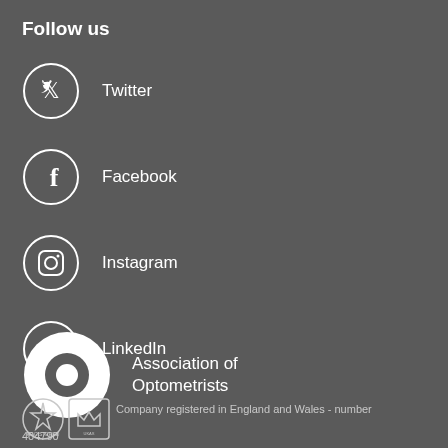Follow us
Twitter
Facebook
Instagram
LinkedIn
[Figure (logo): Association of Optometrists logo - white donut/ring shape with solid circle in center]
Association of Optometrists
[Figure (logo): Two certification logos: REGISTERED mark and UKAS quality management badge]
Company registered in England and Wales - number 404790